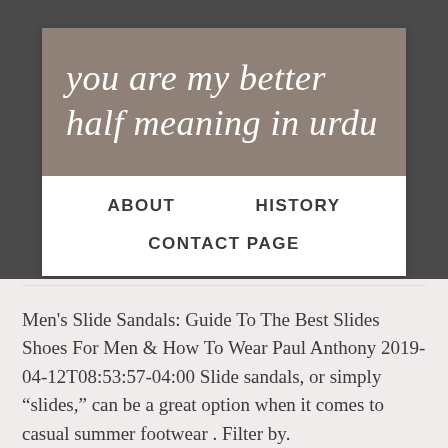you are my better half meaning in urdu
ABOUT    HISTORY    CONTACT PAGE
Men's Slide Sandals: Guide To The Best Slides Shoes For Men & How To Wear Paul Anthony 2019-04-12T08:53:57-04:00 Slide sandals, or simply “slides,” can be a great option when it comes to casual summer footwear . Filter by.